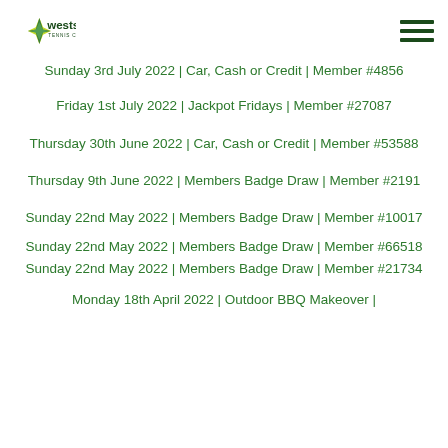Wests Tennis Club
Sunday 3rd July 2022 | Car, Cash or Credit | Member #4856
Friday 1st July 2022 | Jackpot Fridays | Member #27087
Thursday 30th June 2022 | Car, Cash or Credit | Member #53588
Thursday 9th June 2022 | Members Badge Draw | Member #2191
Sunday 22nd May 2022 | Members Badge Draw | Member #10017
Sunday 22nd May 2022 | Members Badge Draw | Member #66518
Sunday 22nd May 2022 | Members Badge Draw | Member #21734
Monday 18th April 2022 | Outdoor BBQ Makeover |